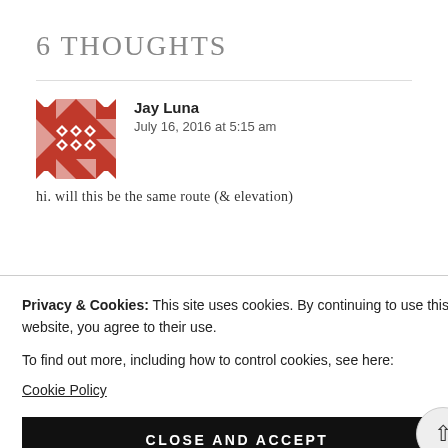6 THOUGHTS
Jay Luna
July 16, 2016 at 5:15 am
hi. will this be the same route (& elevation)
Privacy & Cookies: This site uses cookies. By continuing to use this website, you agree to their use.
To find out more, including how to control cookies, see here:
Cookie Policy
CLOSE AND ACCEPT